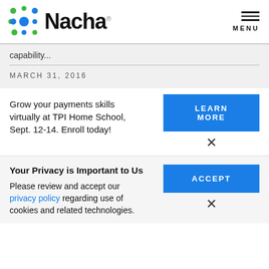[Figure (logo): Nacha logo with colorful dot pattern and wordmark]
capability...
MARCH 31, 2016
Grow your payments skills virtually at TPI Home School, Sept. 12-14. Enroll today!
LEARN MORE
Your Privacy is Important to Us
Please review and accept our privacy policy regarding use of cookies and related technologies.
ACCEPT